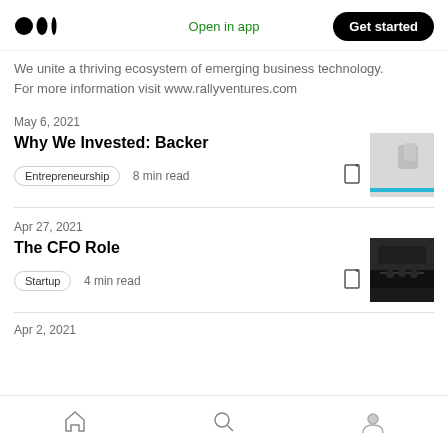Medium logo | Open in app | Get started
We unite a thriving ecosystem of emerging business technology. For more information visit www.rallyventures.com
May 6, 2021
Why We Invested: Backer
Entrepreneurship  8 min read
[Figure (photo): Thumbnail image for Why We Invested: Backer article — light grey background with blurred shapes]
Apr 27, 2021
The CFO Role
Startup  4 min read
[Figure (photo): Thumbnail image for The CFO Role article — dark indoor scene with people around a table]
Navigation bar: Home, Search, Profile